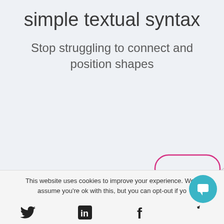simple textual syntax
Stop struggling to connect and position shapes
[Figure (illustration): Flowchart diagram showing '#start' text in olive/yellow-green color connected to a diamond shape and then to a pink rounded rectangle and a cyan rectangle outline, connected by gray curved lines.]
This website uses cookies to improve your experience. We'll assume you're ok with this, but you can opt-out if yo
[Figure (infographic): Social media icons: Twitter bird, LinkedIn 'in' box, Facebook 'f', and a partial bird icon on the right.]